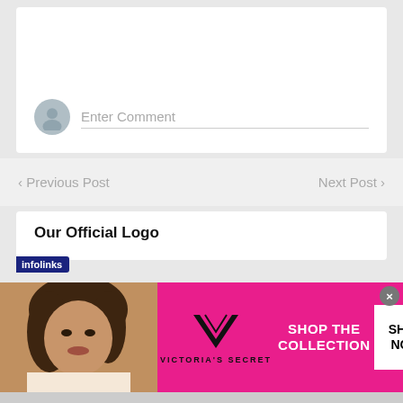Enter Comment
< Previous Post
Next Post >
Our Official Logo
[Figure (infographic): Victoria's Secret advertisement banner with model, VS logo, 'SHOP THE COLLECTION' text and 'SHOP NOW' button]
infolinks